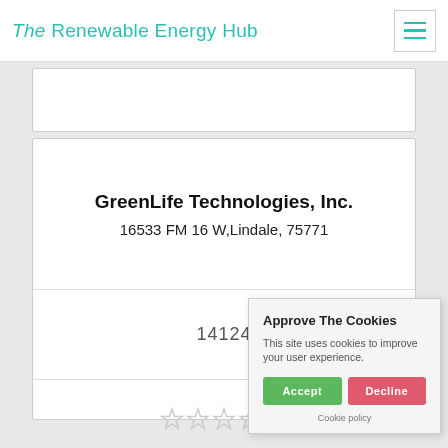The Renewable Energy Hub
GreenLife Technologies, Inc.
16533 FM 16 W,Lindale, 75771
14124
[Figure (other): Five empty star rating icons]
Approve The Cookies
This site uses cookies to improve your user experience.
Accept | Decline
Cookie policy